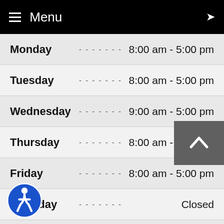≡ Menu
| Day | Hours |
| --- | --- |
| Monday | 8:00 am - 5:00 pm |
| Tuesday | 8:00 am - 5:00 pm |
| Wednesday | 9:00 am - 5:00 pm |
| Thursday | 8:00 am - 5:00 pm |
| Friday | 8:00 am - 5:00 pm |
| Saturday | Closed |
| Sunday | Closed |